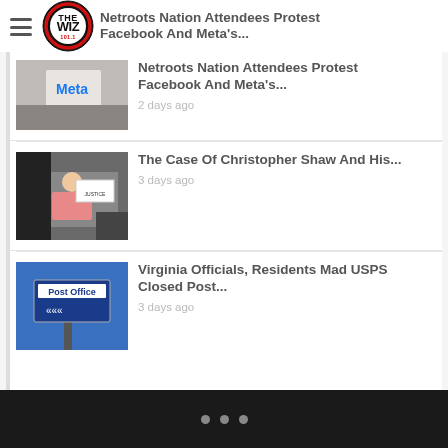THE WIZ 101.1
Netroots Nation Attendees Protest Facebook And Meta's... 2 days ago
The Case Of Christopher Shaw And His... 3 days ago
Virginia Officials, Residents Mad USPS Closed Post... 3 days ago